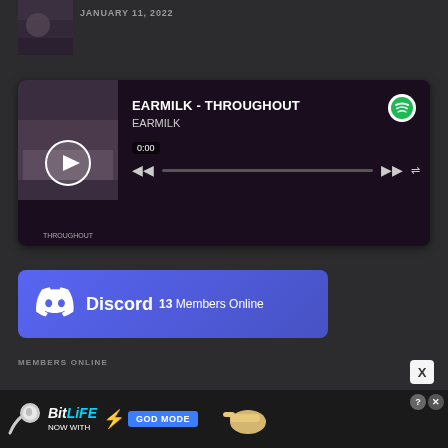[Figure (screenshot): Partial thumbnail image at top left, dark nature photo]
JANUARY 11, 2022
[Figure (screenshot): Spotify embedded music player widget showing EARMILK - THROUGHOUT by EARMILK, with album art, play controls, progress bar, and Spotify logo. Time shows 0:00.]
[Figure (screenshot): Discord widget showing 13 Members Online with Discord logo and purple/blue gradient background]
MEMBERS ONLINE
[Figure (screenshot): BitLife advertisement banner - NOW WITH GOD MODE, showing sperm mascot and hand pointing with lightning bolt graphic]